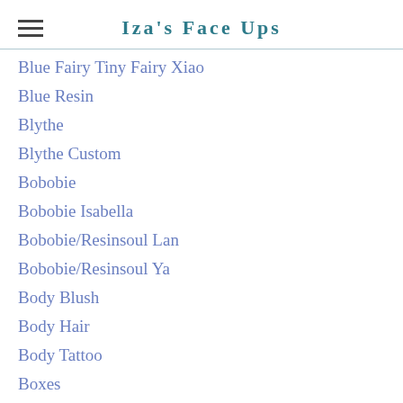Iza's Face Ups
Blue Fairy Tiny Fairy Xiao
Blue Resin
Blythe
Blythe Custom
Bobobie
Bobobie Isabella
Bobobie/Resinsoul Lan
Bobobie/Resinsoul Ya
Body Blush
Body Hair
Body Tattoo
Boxes
Brownie Doll
Brownie Doll Haha
Cat Bjd
Cat Ears
Cat Girl